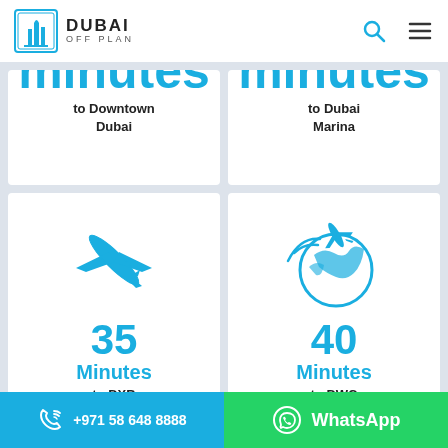Dubai Off Plan — navigation header with logo, search icon, and menu icon
Minutes to Downtown Dubai
Minutes to Dubai Marina
[Figure (illustration): Blue airplane icon]
35 Minutes to DXB
[Figure (illustration): Blue airplane with globe icon]
40 Minutes to DWC
+971 58 648 8888 | WhatsApp